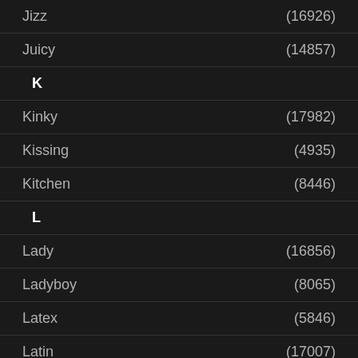Jizz (16926)
Juicy (14857)
K
Kinky (17982)
Kissing (4935)
Kitchen (8446)
L
Lady (16856)
Ladyboy (8065)
Latex (5846)
Latin (17007)